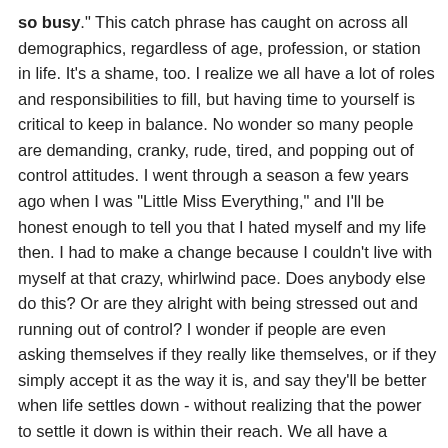so busy." This catch phrase has caught on across all demographics, regardless of age, profession, or station in life. It's a shame, too. I realize we all have a lot of roles and responsibilities to fill, but having time to yourself is critical to keep in balance. No wonder so many people are demanding, cranky, rude, tired, and popping out of control attitudes. I went through a season a few years ago when I was "Little Miss Everything," and I'll be honest enough to tell you that I hated myself and my life then. I had to make a change because I couldn't live with myself at that crazy, whirlwind pace. Does anybody else do this? Or are they alright with being stressed out and running out of control? I wonder if people are even asking themselves if they really like themselves, or if they simply accept it as the way it is, and say they'll be better when life settles down - without realizing that the power to settle it down is within their reach. We all have a choice and 100% of the time, a better life comes from making better choices. You can't have it all at the same time, folks. You have to prioritize and accept each season as it comes.
Manners. Nowhere is the decline of manners more apparent than on the roadways. People drive more aggressively, and their disregard for